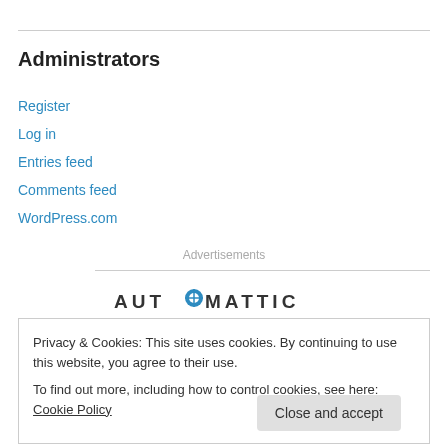Administrators
Register
Log in
Entries feed
Comments feed
WordPress.com
Advertisements
[Figure (logo): Automattic logo with stylized compass/circle icon replacing the letter O]
Privacy & Cookies: This site uses cookies. By continuing to use this website, you agree to their use.
To find out more, including how to control cookies, see here: Cookie Policy